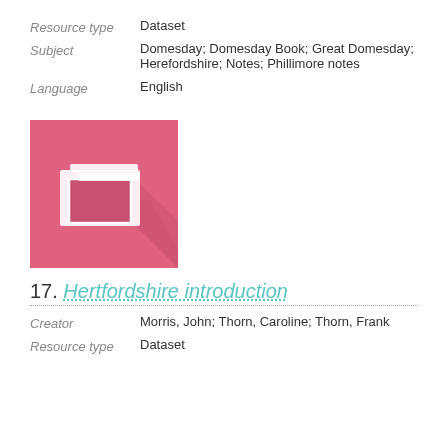Resource type   Dataset
Subject   Domesday; Domesday Book; Great Domesday; Herefordshire; Notes; Phillimore notes
Language   English
[Figure (illustration): Pink folder icon on a pink background with a shadow effect, representing a dataset]
17. Hertfordshire introduction
Creator   Morris, John; Thorn, Caroline; Thorn, Frank
Resource type   Dataset